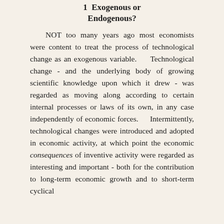Exogenous or Endogenous?
NOT too many years ago most economists were content to treat the process of technological change as an exogenous variable. Technological change - and the underlying body of growing scientific knowledge upon which it drew - was regarded as moving along according to certain internal processes or laws of its own, in any case independently of economic forces. Intermittently, technological changes were introduced and adopted in economic activity, at which point the economic consequences of inventive activity were regarded as interesting and important - both for the contribution to long-term economic growth and to short-term cyclical